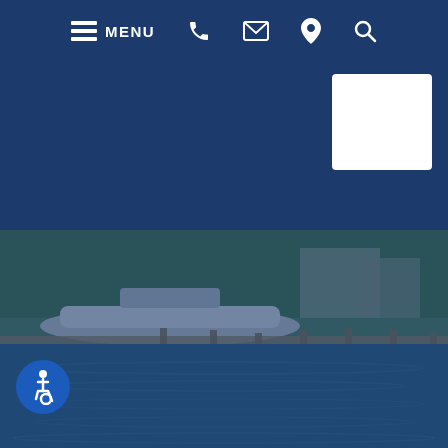MENU navigation bar with phone, email, location, and search icons
[Figure (screenshot): Website navigation bar with dark navy background showing hamburger menu icon followed by MENU text, then phone icon, envelope/email icon, map pin/location icon, and magnifying glass/search icon, all in white on dark blue background]
[Figure (logo): White logo on white square background — appears to be a U-shaped symbol combined with a grid of dots, representing a marina or utility authority logo]
[Figure (photo): Marina scene with a large white yacht docked at a wooden pier/dock, surrounded by tall palm trees and tropical vegetation in the background, with calm blue water reflecting the scene in the foreground. A blue overlay tints the entire image.]
[Figure (other): Blue circular accessibility/wheelchair symbol button in lower left corner]